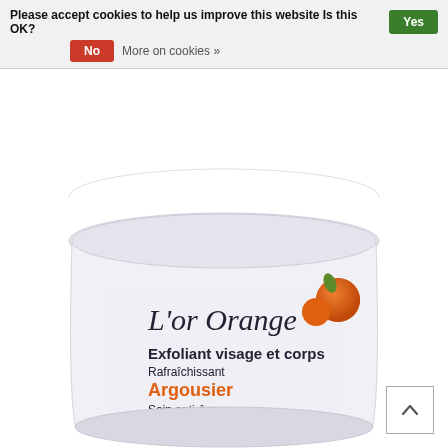Please accept cookies to help us improve this website Is this OK?  Yes  No  More on cookies »
[Figure (photo): A white cylindrical cosmetic jar with lid labeled 'L'or Orange Exfoliant visage et corps Rafraîchissant Argousier Soin anti-âge' with orange sea-buckthorn berry illustration on the label.]